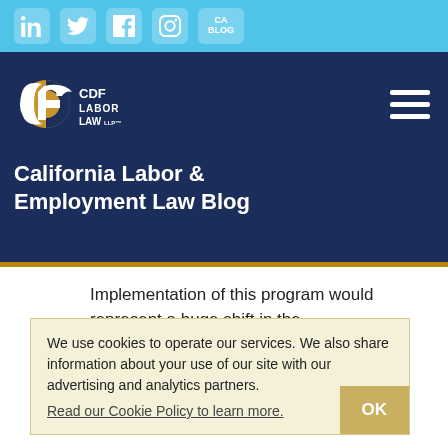[Figure (screenshot): Social media icon bar: LinkedIn, Twitter, Facebook, Instagram, CA Blog icons on light blue background]
[Figure (logo): CDF Labor Law LLP logo — stylized 'cf' with gold circle on navy background, text reads CDF LABOR LAW LLP]
California Labor & Employment Law Blog
Implementation of this program would represent a huge shift in the way immigration law is practiced.
We use cookies to operate our services. We also share information about your use of our site with our advertising and analytics partners.
Read our Cookie Policy to learn more.